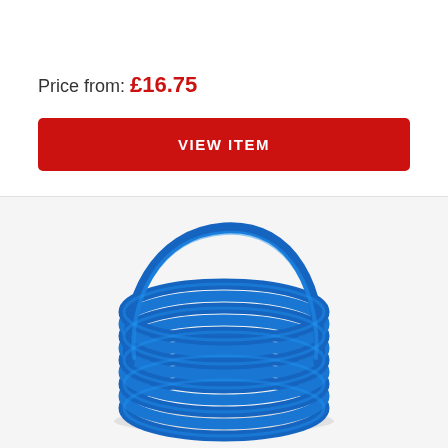Price from: £16.75
VIEW ITEM
[Figure (photo): A coil of blue plastic tubing/hose wound into a circular bundle with one loop raised up as a handle, photographed on a white/light grey background.]